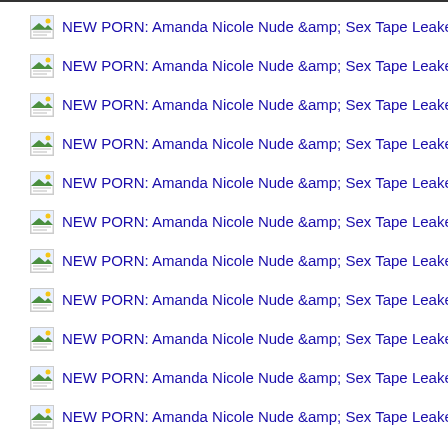NEW PORN: Amanda Nicole Nude &amp; Sex Tape Leaked!
NEW PORN: Amanda Nicole Nude &amp; Sex Tape Leaked!
NEW PORN: Amanda Nicole Nude &amp; Sex Tape Leaked!
NEW PORN: Amanda Nicole Nude &amp; Sex Tape Leaked!
NEW PORN: Amanda Nicole Nude &amp; Sex Tape Leaked!
NEW PORN: Amanda Nicole Nude &amp; Sex Tape Leaked!
NEW PORN: Amanda Nicole Nude &amp; Sex Tape Leaked!
NEW PORN: Amanda Nicole Nude &amp; Sex Tape Leaked!
NEW PORN: Amanda Nicole Nude &amp; Sex Tape Leaked!
NEW PORN: Amanda Nicole Nude &amp; Sex Tape Leaked!
NEW PORN: Amanda Nicole Nude &amp; Sex Tape Leaked!